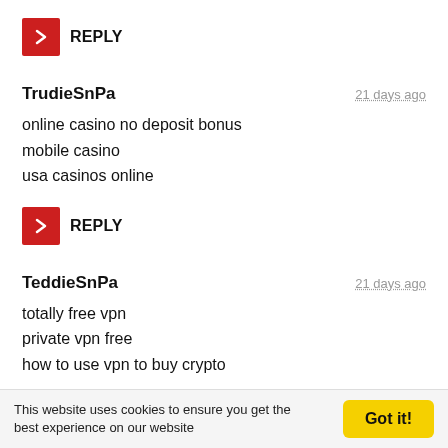REPLY
TrudieSnPa — 21 days ago
online casino no deposit bonus
mobile casino
usa casinos online
REPLY
TeddieSnPa — 21 days ago
totally free vpn
private vpn free
how to use vpn to buy crypto
This website uses cookies to ensure you get the best experience on our website